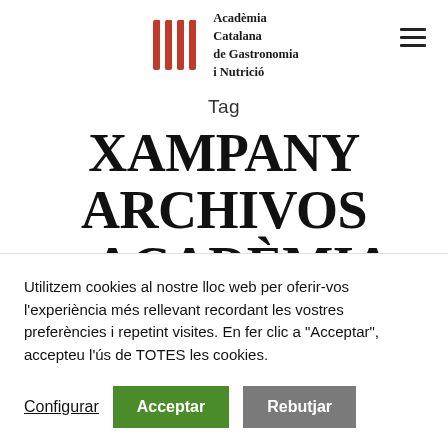[Figure (logo): Academia Catalana de Gastronomia i Nutrició logo with four red forks and text]
Tag
XAMPANY ARCHIVOS – ACADÈMIA CATALANA DE GASTRONOMIA I
Utilitzem cookies al nostre lloc web per oferir-vos l'experiència més rellevant recordant les vostres preferències i repetint visites. En fer clic a "Acceptar", accepteu l'ús de TOTES les cookies.
Configurar   Acceptar   Rebutjar